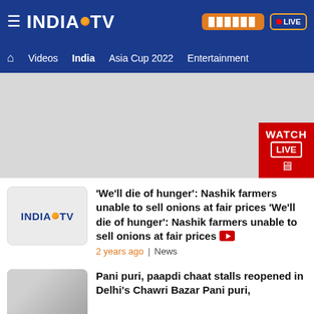INDIA TV — top navigation bar with hamburger menu, logo, Hindi button, LIVE button
Videos | India | Asia Cup 2022 | Entertainment
[Figure (other): Advertisement banner placeholder (grey rectangle) with WATCH LIVE badge in bottom-right corner]
[Figure (logo): India TV logo thumbnail]
'We'll die of hunger': Nashik farmers unable to sell onions at fair prices 'We'll die of hunger': Nashik farmers unable to sell onions at fair prices
2 years ago | News
[Figure (photo): Food photo thumbnail (pani puri / paapdi chaat)]
Pani puri, paapdi chaat stalls reopened in Delhi's Chawri Bazar Pani puri,